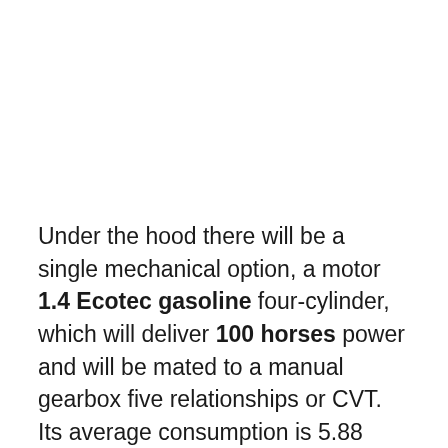Under the hood there will be a single mechanical option, a motor 1.4 Ecotec gasoline four-cylinder, which will deliver 100 horses power and will be mated to a manual gearbox five relationships or CVT. Its average consumption is 5.88 liters per 100 with changing drive. It is a significantly more powerful than the 1.0 of 75 horses Karl Opel motor. To reduce the weight and size of the engine block and cylinder head are aluminum and the latter is integrated and the intake manifold. The management of the